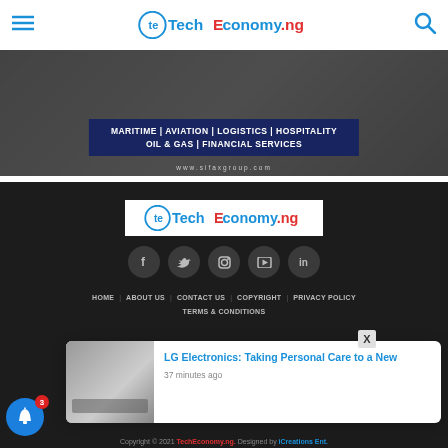TechEconomy.ng
[Figure (photo): Banner advertisement for Sifax Group showing maritime/logistics imagery with dark navy overlay listing services: MARITIME | AVIATION | LOGISTICS | HOSPITALITY OIL & GAS | FINANCIAL SERVICES and website www.sifaxgroup.com]
[Figure (logo): TechEconomy.ng logo in footer area with white background]
[Figure (infographic): Row of 5 social media icon circles (Facebook, Twitter, Instagram, YouTube, LinkedIn) on dark background]
HOME | ABOUT US | CONTACT US | COPYRIGHT | PRIVACY POLICY | TERMS & CONDITIONS
[Figure (screenshot): Push notification popup showing LG Electronics article thumbnail with title 'LG Electronics: Taking Personal Care to a New' and timestamp '37 minutes ago', with X close button]
Copyright © 2021 TechEconomy.ng. Designed by iCreations Ent.